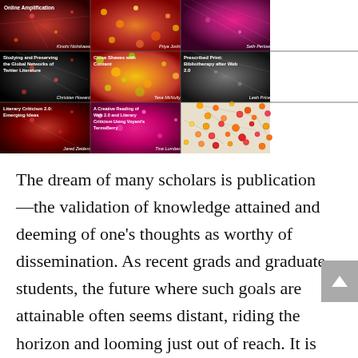[Figure (illustration): 3x3 grid of book cover thumbnails showing articles/essays. Row 1 (partial): red network image with 'Online Amplification' and author 'Kinohi Nishikawa'; orange dot pattern with author 'Priya Joshi'; pink fiber image with author 'Seth Perlow'. Row 2: dark network 'Studying and Preserving the Global Networks of Twitter Literature' by 'Christian Howard'; yellow-green dot pattern 'Close Shaves with Content' by 'Tesa McNulty'; gray fiber 'Prescribed Print: Bibliotherapy after Web 2.0' by 'Leah Price'. Row 3: crimson 'Literary Criticism 2.0: Emerging Ideas' by 'Jared Zeiders'; magenta 'A Creative Reading of Web 2.0 and Literary Criticism Using Voyant's TermsBerry' by 'Tina Lumbes'; network dot diagram.]
The dream of many scholars is publication—the validation of knowledge attained and deeming of one's thoughts as worthy of dissemination. As recent grads and graduate students, the future where such goals are attainable often seems distant, riding the horizon and looming just out of reach. It is with great joy that DH@SDSU is able to highlight